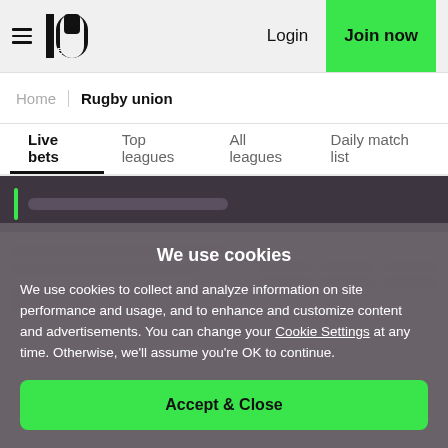10BET | Login | Join now
Home / Rugby union
Live bets | Top leagues | All leagues | Daily match list
[Figure (screenshot): Dark loading bar with green accent and skeleton placeholder]
[Figure (screenshot): Loading skeleton content area with placeholder bars and blocks]
We use cookies
We use cookies to collect and analyze information on site performance and usage, and to enhance and customize content and advertisements. You can change your Cookie Settings at any time. Otherwise, we'll assume you're OK to continue.
Accept & Close